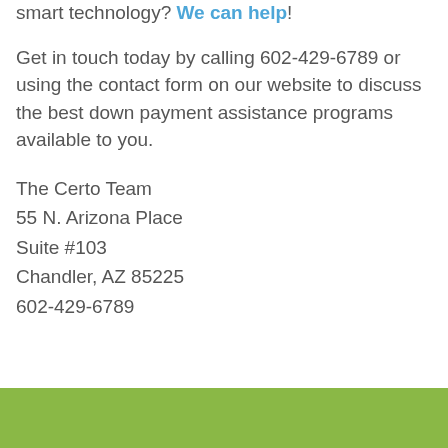Looking to get into a new home filled with smart technology? We can help!
Get in touch today by calling 602-429-6789 or using the contact form on our website to discuss the best down payment assistance programs available to you.
The Certo Team
55 N. Arizona Place
Suite #103
Chandler, AZ 85225
602-429-6789